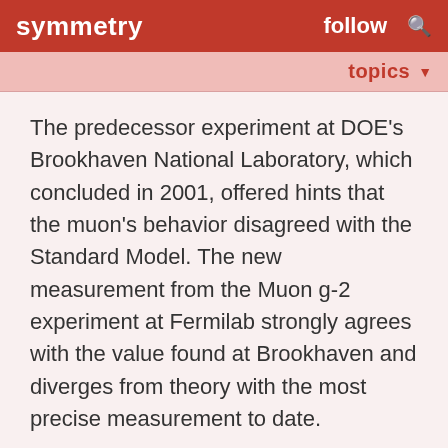symmetry   follow   🔍
topics ▼
The predecessor experiment at DOE's Brookhaven National Laboratory, which concluded in 2001, offered hints that the muon's behavior disagreed with the Standard Model. The new measurement from the Muon g-2 experiment at Fermilab strongly agrees with the value found at Brookhaven and diverges from theory with the most precise measurement to date.
The accepted theoretical values for the muon are: